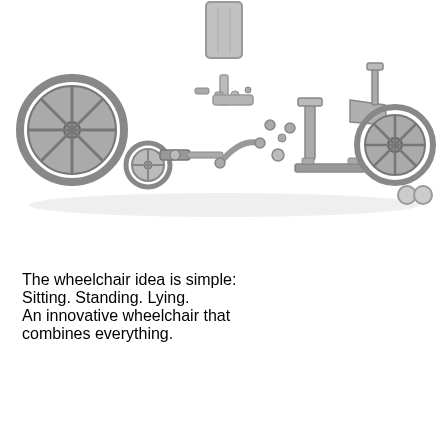[Figure (illustration): Exploded view diagram of a wheelchair showing all its disassembled components spread out horizontally: large rear wheel on the left, smaller front wheels, axle connectors, armrests, seat back panel, footrests, frame pieces, and smaller hardware components, rendered in 3D gray/silver tones on a white background.]
The wheelchair idea is simple: Sitting. Standing. Lying. An innovative wheelchair that combines everything.